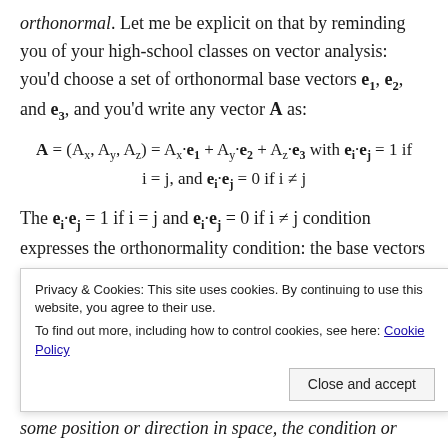orthonormal. Let me be explicit on that by reminding you of your high-school classes on vector analysis: you'd choose a set of orthonormal base vectors e1, e2, and e3, and you'd write any vector A as:
The ei·ej = 1 if i = j and ei·ej = 0 if i ≠ j condition expresses the orthonormality condition: the base vectors need to be orthogonal unit vectors. We wrote it as ei·ej = δij using the Kronecker delta (δij = 1 if i = j and 0 if i
some position or direction in space, the condition or